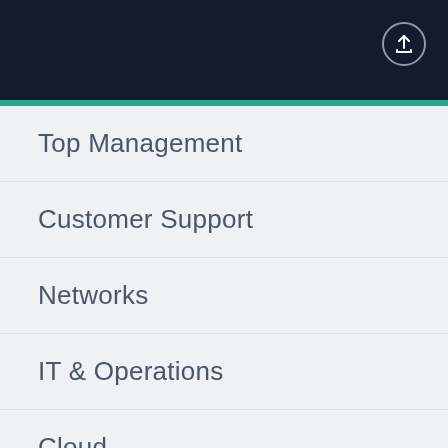Top Management
Customer Support
Networks
IT & Operations
Cloud
Security
Storage & Backup